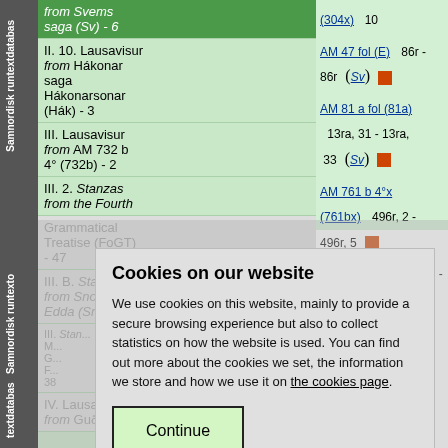Samnordisk runtextdatabas
from Svems saga (Sv) - 6
II. 10. Lausavisur from Hákonar saga Hákonarsonar (Hák) - 3
III. Lausavisur from AM 732 b 4° (732b) - 2
III. 2. Stanzas from the Fourth Grammatical Treatise (FoGT) - 47
III. B. Stanzas from Snorris Edda (SnE) - 18
IV. Lausavisa from Guðmundar
(304x)   10
AM 47 fol (E)   86r - 86r   (Sv)
AM 81 a fol (81a)   13ra, 31 - 13ra, 33   (Sv)
AM 761 b 4°x (761bx)   496r, 2 - 496r, 5
unknown ms (xx)   , 5 - 6, 5
Cookies on our website
We use cookies on this website, mainly to provide a secure browsing experience but also to collect statistics on how the website is used. You can find out more about the cookies we set, the information we store and how we use it on the cookies page.
Continue